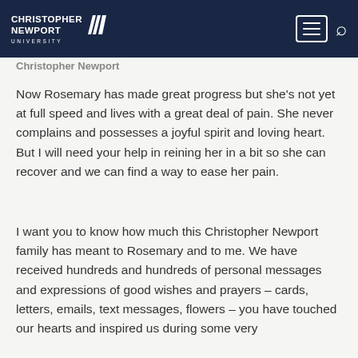Christopher Newport University — navigation bar
Christopher Newport
Now Rosemary has made great progress but she's not yet at full speed and lives with a great deal of pain. She never complains and possesses a joyful spirit and loving heart. But I will need your help in reining her in a bit so she can recover and we can find a way to ease her pain.
I want you to know how much this Christopher Newport family has meant to Rosemary and to me. We have received hundreds and hundreds of personal messages and expressions of good wishes and prayers – cards, letters, emails, text messages, flowers – you have touched our hearts and inspired us during some very